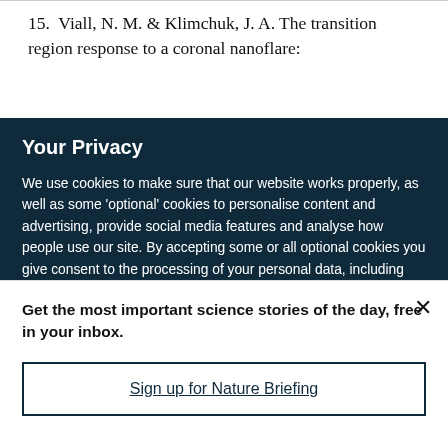15.  Viall, N. M. & Klimchuk, J. A. The transition region response to a coronal nanoflare:
Your Privacy
We use cookies to make sure that our website works properly, as well as some 'optional' cookies to personalise content and advertising, provide social media features and analyse how people use our site. By accepting some or all optional cookies you give consent to the processing of your personal data, including transfer to third parties, some in countries outside of the European Economic Area that do not offer the same data protection standards as the country where you live. You can decide which optional cookies to accept by clicking on 'Manage Settings', where you can
Get the most important science stories of the day, free in your inbox.
Sign up for Nature Briefing